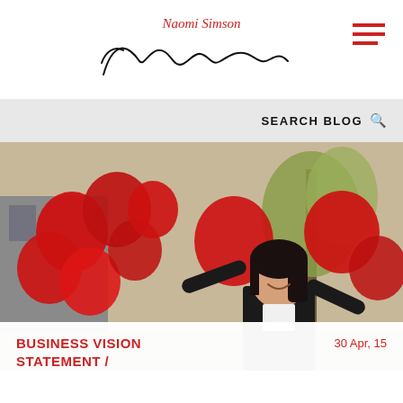Naomi Simson
SEARCH BLOG
[Figure (photo): Woman smiling and holding red heart-shaped balloons outdoors on a street, wearing a black blazer]
BUSINESS VISION STATEMENT /
30 Apr, 15